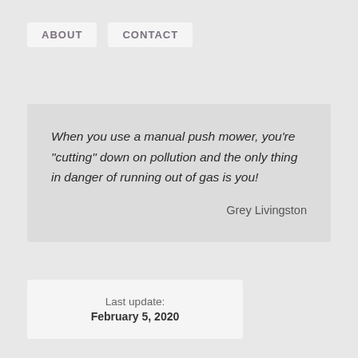ABOUT   CONTACT
When you use a manual push mower, you're "cutting" down on pollution and the only thing in danger of running out of gas is you!

Grey Livingston
Last update:
February 5, 2020